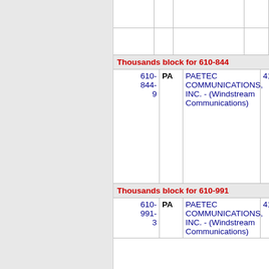Thousands block for 610-844
| Number | State | Company | Code |
| --- | --- | --- | --- |
| 610-844-9 | PA | PAETEC COMMUNICATIONS, INC. - (Windstream Communications) | 4153 |
Thousands block for 610-991
| Number | State | Company | Code |
| --- | --- | --- | --- |
| 610-991-3 | PA | PAETEC COMMUNICATIONS, INC. - (Windstream Communications) | 4153 |